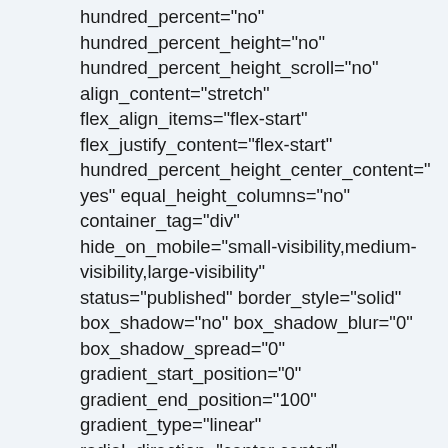hundred_percent="no" hundred_percent_height="no" hundred_percent_height_scroll="no" align_content="stretch" flex_align_items="flex-start" flex_justify_content="flex-start" hundred_percent_height_center_content="yes" equal_height_columns="no" container_tag="div" hide_on_mobile="small-visibility,medium-visibility,large-visibility" status="published" border_style="solid" box_shadow="no" box_shadow_blur="0" box_shadow_spread="0" gradient_start_position="0" gradient_end_position="100" gradient_type="linear" radial_direction="center center" linear_angle="180" background_position="center center"